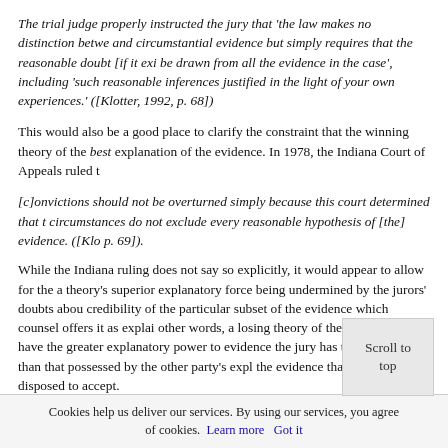The trial judge properly instructed the jury that 'the law makes no distinction between and circumstantial evidence but simply requires that the reasonable doubt [if it exi be drawn from all the evidence in the case', including 'such reasonable inferences justified in the light of your own experiences.' ([Klotter, 1992, p. 68])
This would also be a good place to clarify the constraint that the winning theory of the best explanation of the evidence. In 1978, the Indiana Court of Appeals ruled t
[c]onvictions should not be overturned simply because this court determined that t circumstances do not exclude every reasonable hypothesis of [the] evidence. ([Klo p. 69]).
While the Indiana ruling does not say so explicitly, it would appear to allow for the a theory's superior explanatory force being undermined by the jurors' doubts abou credibility of the particular subset of the evidence which counsel offers it as explai other words, a losing theory of the case might have the greater explanatory power to evidence the jury has trouble with than that possessed by the other party's expl the evidence that jury is more disposed to accept.
We should also note that, on rare occasions, the evidence that admits of only one possible explanation. In such cases, it is pe have obtained exceptional criminal come w